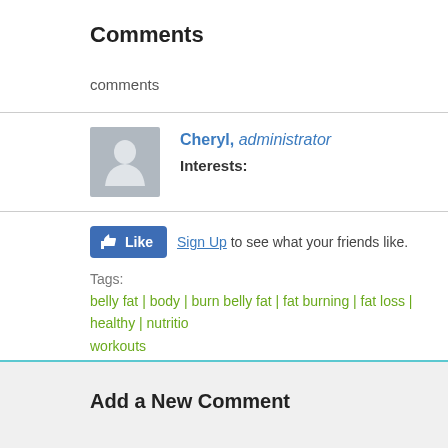Comments
comments
Cheryl, administrator
Interests:
Like  Sign Up to see what your friends like.
Tags:
belly fat | body | burn belly fat | fat burning | fat loss | healthy | nutritio... | workouts
Add a New Comment